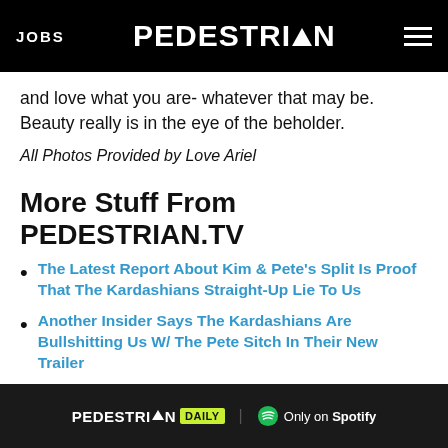JOBS | PEDESTRIAN | menu
and love what you are- whatever that may be. Beauty really is in the eye of the beholder.
All Photos Provided by Love Ariel
More Stuff From PEDESTRIAN.TV
The Latest Report About Kim & Pete's Split Is Proof That The Kardashians Straight-Up Lie To Us
Another Insider Says The Kardashians Are Bullshitting Us W/ The Pete Sitch In Their New Trailer
Nick Cave Has Announced The Death Of His Son Jethro
[Figure (other): PEDESTRIAN DAILY Only on Spotify - advertisement banner]